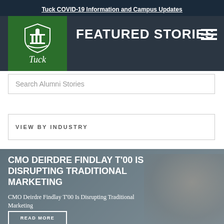Tuck COVID-19 Information and Campus Updates
FEATURED STORIES
[Figure (logo): Tuck School of Business logo - green background with shield emblem and 'Tuck' text]
Search Alumni Stories
VIEW BY INDUSTRY
[Figure (photo): Background photo of a woman smiling, overlaid with hero content]
CMO DEIRDRE FINDLAY T'00 IS DISRUPTING TRADITIONAL MARKETING
CMO Deirdre Findlay T'00 Is Disrupting Traditional Marketing
READ MORE